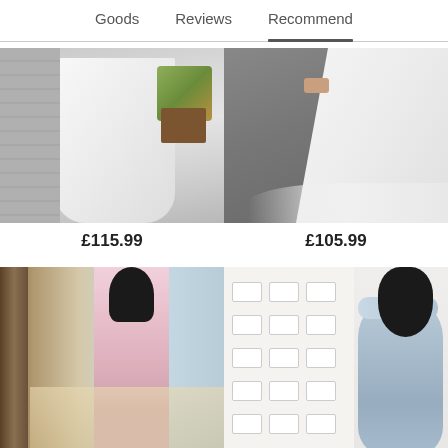Goods   Reviews   Recommend
[Figure (photo): White flowing dress displayed outdoors against a brick wall with a wooden plant stand]
£115.99
[Figure (photo): White mermaid-style dress with a train, held by a person on a stone patio]
£105.99
[Figure (photo): Woman in a pink lace-top maxi dress standing on a beach]
[Figure (photo): Woman in a light blue off-shoulder fitted dress posing in front of a decorated backdrop]